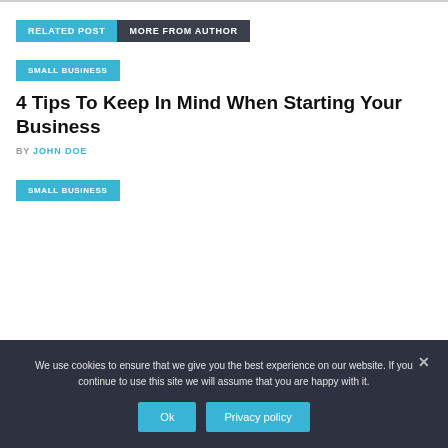RELATED POST   MORE FROM AUTHOR
SMALL BUSINESS
4 Tips To Keep In Mind When Starting Your Business
BY JOHN DOE
SMALL BUSINESS
We use cookies to ensure that we give you the best experience on our website. If you continue to use this site we will assume that you are happy with it.